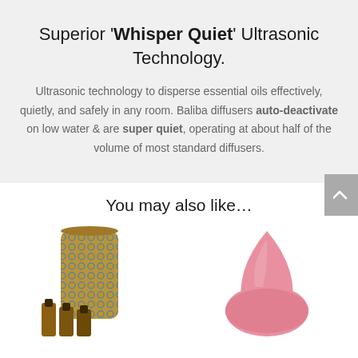Superior 'Whisper Quiet' Ultrasonic Technology.
Ultrasonic technology to disperse essential oils effectively, quietly, and safely in any room. Baliba diffusers auto-deactivate on low water & are super quiet, operating at about half of the volume of most standard diffusers.
You may also like…
[Figure (photo): Decorative patterned cylindrical diffuser in gold and blue with three small brown essential oil bottles in front]
[Figure (photo): Pink ceramic teardrop-shaped diffuser on white background]